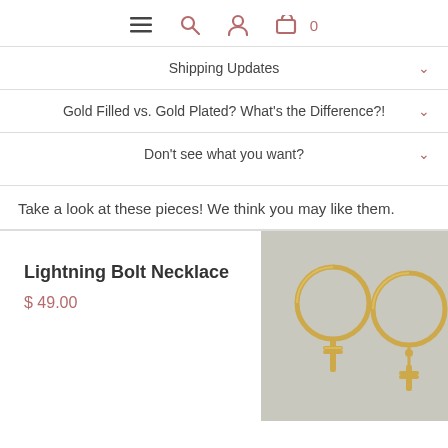Navigation icons: menu, search, user, cart (0)
Shipping Updates
Gold Filled vs. Gold Plated? What's the Difference?!
Don't see what you want?
Take a look at these pieces! We think you may like them.
Lightning Bolt Necklace
$ 49.00
[Figure (photo): Gold hoop earrings with cross charms hanging from them, on a light gray background]